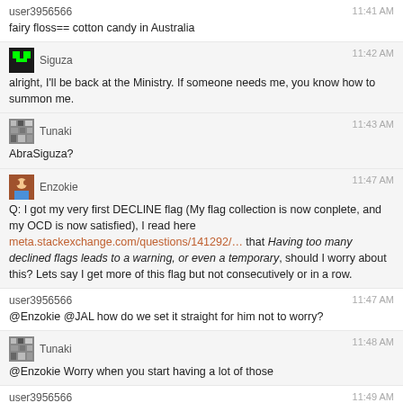user3956566 11:41 AM
fairy floss== cotton candy in Australia
Siguza 11:42 AM
alright, I'll be back at the Ministry. If someone needs me, you know how to summon me.
Tunaki 11:43 AM
AbraSiguza?
Enzokie 11:47 AM
Q: I got my very first DECLINE flag (My flag collection is now conplete, and my OCD is now satisfied), I read here meta.stackexchange.com/questions/141292/... that Having too many declined flags leads to a warning, or even a temporary, should I worry about this? Lets say I get more of this flag but not consecutively or in a row.
user3956566 11:47 AM
@Enzokie @JAL how do we set it straight for him not to worry?
Tunaki 11:48 AM
@Enzokie Worry when you start having a lot of those
user3956566 11:49 AM
JAL and I have an accidental competition for most declined flags. By accidental, it means we are not trying to get declined flags, we are trying to not get declined flags. So we high five occasionally when we do a tally. TLDR just don't worry about them too much, as long as the bulk is not declined
Enzokie 11:49 AM
ah see, :)